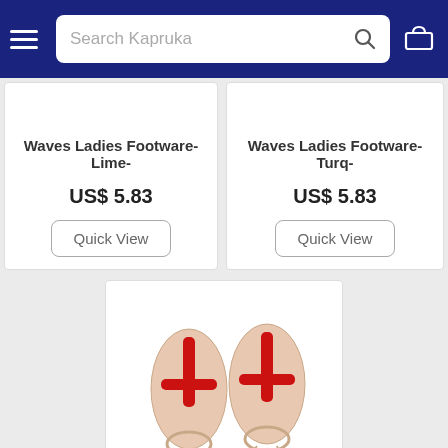Search Kapruka
Waves Ladies Footware- Lime-
US$ 5.83
Quick View
Waves Ladies Footware- Turq-
US$ 5.83
Quick View
[Figure (photo): Two beige/nude sandals with red T-strap and ankle tie, viewed from above. Watermark: (c) Kapruka.com]
Waves Ladies Footware- Red-
US$ 5.83